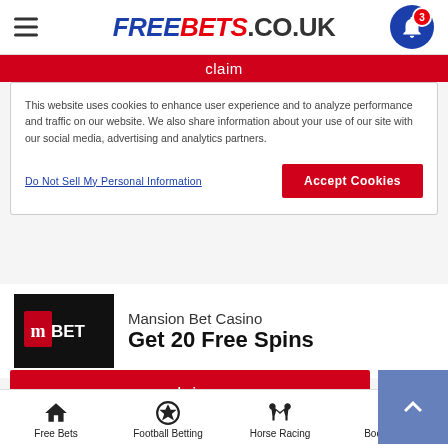FREEBETS.CO.UK
claim
This website uses cookies to enhance user experience and to analyze performance and traffic on our website. We also share information about your use of our site with our social media, advertising and analytics partners.
Do Not Sell My Personal Information
Accept Cookies
Mansion Bet Casino
Get 20 Free Spins
claim
bgo
Up to 500 Free Spins
Free Bets | Football Betting | Horse Racing | Bookmakers